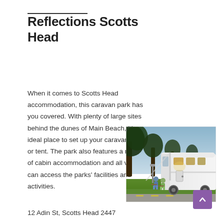Reflections Scotts Head
When it comes to Scotts Head accommodation, this caravan park has you covered. With plenty of large sites behind the dunes of Main Beach, it’s an ideal place to set up your caravan, RV or tent. The park also features a range of cabin accommodation and all visitors can access the parks’ facilities and activities.
[Figure (photo): Photo of a white motorhome/RV parked on grass with trees in the background and people sitting outside under the awning at dusk/sunset.]
12 Adin St, Scotts Head 2447